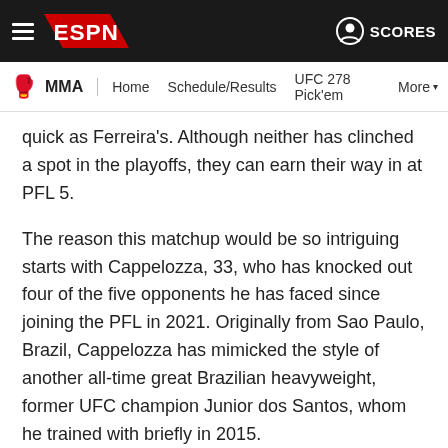ESPN MMA — Home | Schedule/Results | UFC 278 Pick'em | More
quick as Ferreira's. Although neither has clinched a spot in the playoffs, they can earn their way in at PFL 5.
The reason this matchup would be so intriguing starts with Cappelozza, 33, who has knocked out four of the five opponents he has faced since joining the PFL in 2021. Originally from Sao Paulo, Brazil, Cappelozza has mimicked the style of another all-time great Brazilian heavyweight, former UFC champion Junior dos Santos, whom he trained with briefly in 2015.
"Bruno is known for fast hands, but what I remember most about our sparring is his leg kick," dos Santos told ESPN. "He brings a lot of pressure and his hands are very fast, but when he hit me with that leg kick, I said to myself, 'Oh, I don't want to